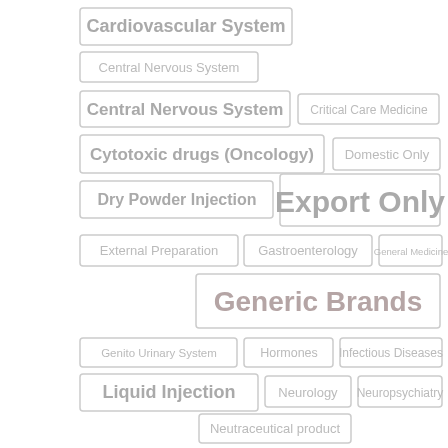[Figure (infographic): Tag cloud of pharmaceutical/medical categories with varying font sizes indicating frequency/importance. Tags include: Cardiovascular System, Central Nervous System (x2), Critical Care Medicine, Cytotoxic drugs (Oncology), Domestic Only, Dry Powder Injection, Export Only, External Preparation, Gastroenterology, General Medicine, Generic Brands, Genito Urinary System, Hormones, Infectious Diseases, Liquid Injection, Neurology, Neuropsychiatry, Neutraceutical product, Nutritional Supplements, Oncology, Over the Counter (OTC), Prefilled Syringe (PFS), Respiratory Medicine, Respiratory System, Sex Hormones, Skin]